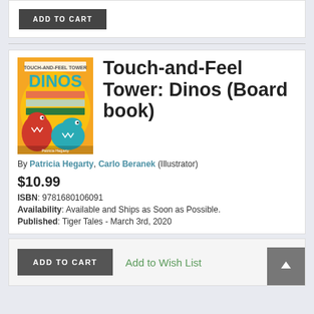[Figure (other): ADD TO CART button in a white card at the top of the page]
[Figure (illustration): Book cover for Touch-and-Feel Tower: Dinos, showing colorful dinosaurs on an orange background with the title DINOS in teal letters]
Touch-and-Feel Tower: Dinos (Board book)
By Patricia Hegarty, Carlo Beranek (Illustrator)
$10.99
ISBN: 9781680106091
Availability: Available and Ships as Soon as Possible.
Published: Tiger Tales - March 3rd, 2020
[Figure (other): ADD TO CART button and Add to Wish List link in action box, with back-to-top arrow button]